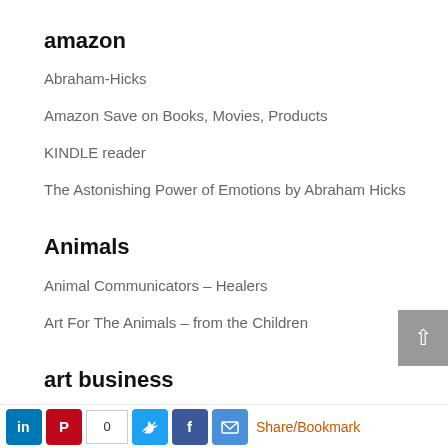amazon
Abraham-Hicks
Amazon Save on Books, Movies, Products
KINDLE reader
The Astonishing Power of Emotions by Abraham Hicks
Animals
Animal Communicators – Healers
Art For The Animals – from the Children
art business
“I’d rather be in the studio”
Alyson Stanfield – Art Biz Coach
Art Marketing Resources – Alyson Stanfield
[Figure (infographic): Social share/bookmark bar with LinkedIn, Pinterest, share count (0), Twitter, Facebook, email icons and Share/Bookmark link]